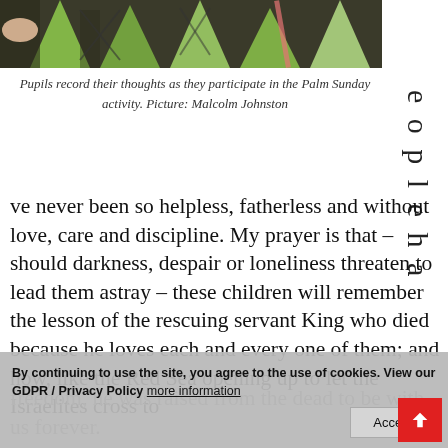[Figure (photo): Photo of pupils doing a Palm Sunday craft activity with green paper and dark background]
Pupils record their thoughts as they participate in the Palm Sunday activity. Picture: Malcolm Johnston
ve never been so helpless, fatherless and without love, care and discipline. My prayer is that – should darkness, despair or loneliness threaten to lead them astray – these children will remember the lesson of the rescuing servant King who died because he loves each and every one of them; and how, like the Red Sea opening up to let the Israelites cross to freedom, he was raised from the dead to be with us forever.
By continuing to use the site, you agree to the use of cookies. View our GDPR / Privacy Policy more information
Accept